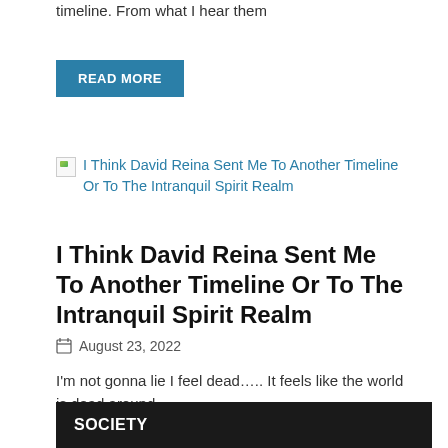timeline. From what I hear them
READ MORE
[Figure (illustration): Broken image placeholder with thumbnail icon]
I Think David Reina Sent Me To Another Timeline Or To The Intranquil Spirit Realm
I Think David Reina Sent Me To Another Timeline Or To The Intranquil Spirit Realm
August 23, 2022
I'm not gonna lie I feel dead..... It feels like the world is dead around
READ MORE
SOCIETY